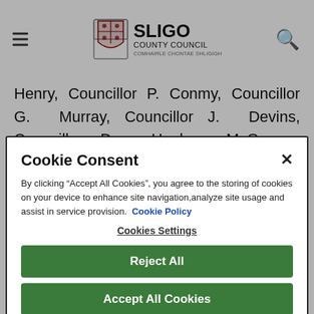Sligo County Council
Henry, Councillor P. Conmy, Councillor G. Murray, Councillor J. Devins, Councillor D. Healy McGowan, Councillor I. Fox be nominated to
Cookie Consent
By clicking “Accept All Cookies”, you agree to the storing of cookies on your device to enhance site navigation,analyze site usage and assist in service provision.  Cookie Policy
Cookies Settings
Reject All
Accept All Cookies